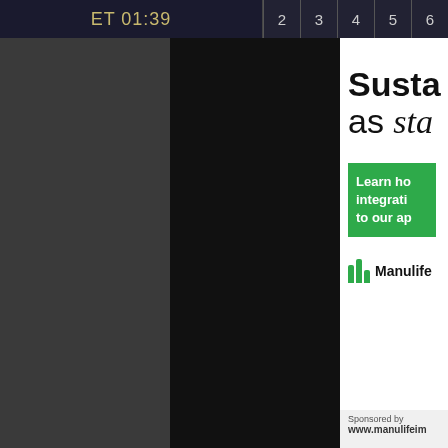ET 01:39  2  3  4  5  6
[Figure (screenshot): Dark UI panels - left dark gray panel and center dark/black panel, part of a financial news website interface]
[Figure (illustration): Manulife Investment Management advertisement showing partial text: Susta... as sta... with a green Learn ho... integrati... to our ap... button and Manulife logo with green bars icon]
Sponsored by www.manulifeim...